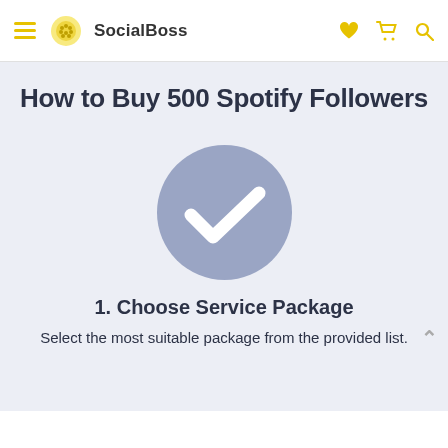SocialBoss
How to Buy 500 Spotify Followers
[Figure (illustration): A large blue-grey circle containing a white checkmark icon, representing step 1 of a process.]
1. Choose Service Package
Select the most suitable package from the provided list.
[Figure (illustration): Partial view of a second blue-grey circle at the bottom of the page, cut off, representing the next step icon.]